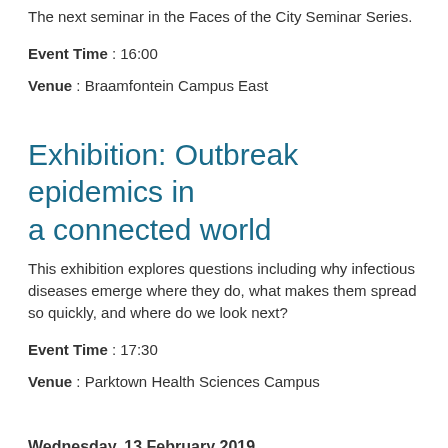The next seminar in the Faces of the City Seminar Series.
Event Time : 16:00
Venue : Braamfontein Campus East
Exhibition: Outbreak epidemics in a connected world
This exhibition explores questions including why infectious diseases emerge where they do, what makes them spread so quickly, and where do we look next?
Event Time : 17:30
Venue : Parktown Health Sciences Campus
Wednesday, 13 February 2019